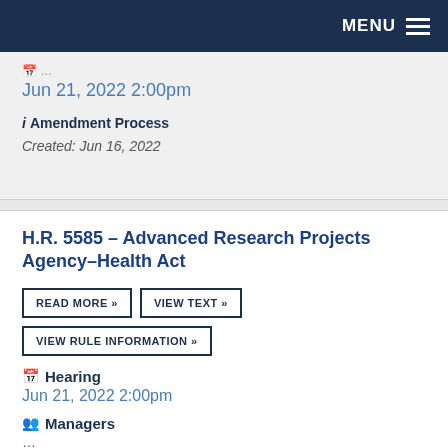MENU
Jun 21, 2022 2:00pm
i Amendment Process
Created: Jun 16, 2022
H.R. 5585 – Advanced Research Projects Agency–Health Act
READ MORE »
VIEW TEXT »
VIEW RULE INFORMATION »
Hearing
Jun 21, 2022 2:00pm
Managers